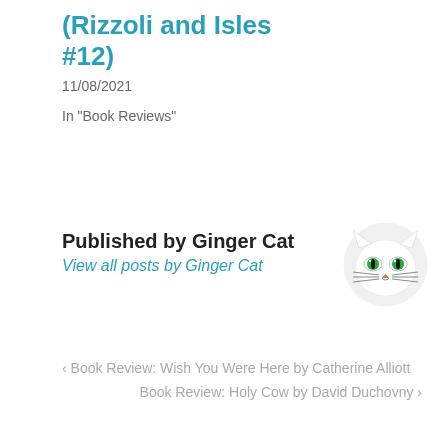(Rizzoli and Isles #12)
11/08/2021
In "Book Reviews"
Published by Ginger Cat
View all posts by Ginger Cat
[Figure (illustration): Circular avatar image of a cartoon white cat face with green eyes and an orange nose, with whiskers]
< Book Review: Wish You Were Here by Catherine Alliott
Book Review: Holy Cow by David Duchovny >